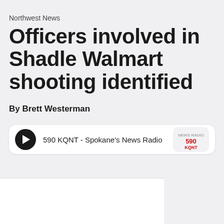Northwest News
Officers involved in Shadle Walmart shooting identified
By Brett Westerman
[Figure (other): Audio player widget for 590 KQNT - Spokane's News Radio with play button and station logo]
[Figure (other): White content area below audio player, partially visible]